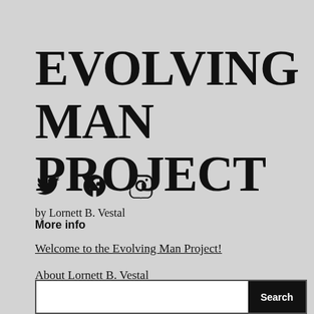EVOLVING MAN PROJECT
by Lornett B. Vestal
[Figure (illustration): Twitter, Facebook, and Instagram social media icons in black]
More info
Welcome to the Evolving Man Project!
About Lornett B. Vestal
Question Culture: The Podcast
[Figure (screenshot): Search bar with white input field and black Search button]